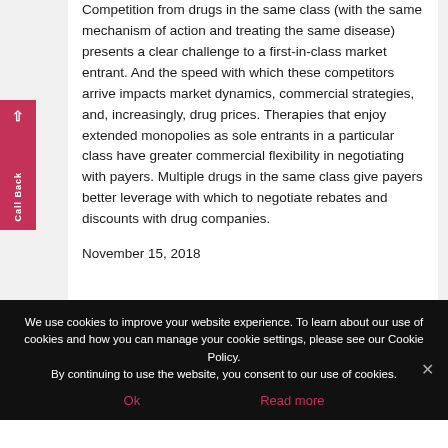Competition from drugs in the same class (with the same mechanism of action and treating the same disease) presents a clear challenge to a first-in-class market entrant. And the speed with which these competitors arrive impacts market dynamics, commercial strategies, and, increasingly, drug prices. Therapies that enjoy extended monopolies as sole entrants in a particular class have greater commercial flexibility in negotiating with payers. Multiple drugs in the same class give payers better leverage with which to negotiate rebates and discounts with drug companies.
November 15, 2018
We use cookies to improve your website experience. To learn about our use of cookies and how you can manage your cookie settings, please see our Cookie Policy.
By continuing to use the website, you consent to our use of cookies.